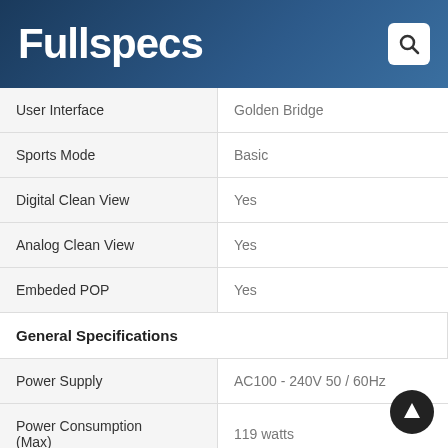Fullspecs
| Feature | Value |
| --- | --- |
| User Interface | Golden Bridge |
| Sports Mode | Basic |
| Digital Clean View | Yes |
| Analog Clean View | Yes |
| Embeded POP | Yes |
| General Specifications |  |
| Power Supply | AC100 - 240V 50 / 60Hz |
| Power Consumption (Max) | 119 watts |
| Power Consumption (Stand-by) | Under 0.3 watts |